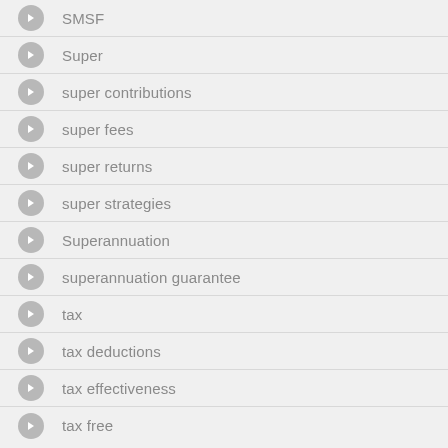SMSF
Super
super contributions
super fees
super returns
super strategies
Superannuation
superannuation guarantee
tax
tax deductions
tax effectiveness
tax free